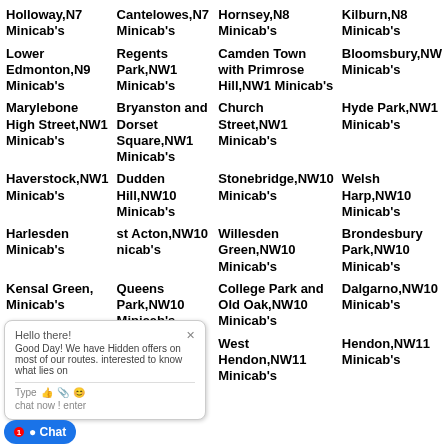Holloway,N7 Minicab's
Cantelowes,N7 Minicab's
Hornsey,N8 Minicab's
Kilburn,N8 Minicab's
Lower Edmonton,N9 Minicab's
Regents Park,NW1 Minicab's
Camden Town with Primrose Hill,NW1 Minicab's
Bloomsbury,NW Minicab's
Marylebone High Street,NW1 Minicab's
Bryanston and Dorset Square,NW1 Minicab's
Church Street,NW1 Minicab's
Hyde Park,NW1 Minicab's
Haverstock,NW1 Minicab's
Dudden Hill,NW10 Minicab's
Stonebridge,NW10 Minicab's
Welsh Harp,NW10 Minicab's
Harlesden Minicab's
st Acton,NW10 nicab's
Willesden Green,NW10 Minicab's
Brondesbury Park,NW10 Minicab's
Kensington Green Minicab's
Queens Park,NW10 Minicab's
College Park and Old Oak,NW10 Minicab's
Dalgarno,NW10 Minicab's
Golden NW11 Minicab's
Childs Hill,NW11 Minicab's
West Hendon,NW11 Minicab's
Hendon,NW11 Minicab's